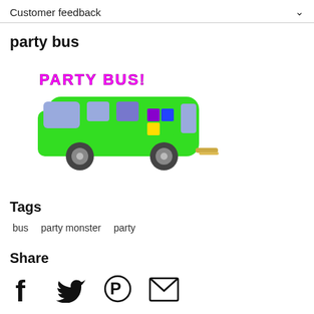Customer feedback
party bus
[Figure (illustration): Cartoon drawing of a green party bus with colorful windows and 'PARTY BUS!' text in magenta above it]
Tags
bus   party monster   party
Share
[Figure (other): Social share icons: Facebook, Twitter, Pinterest, Email]